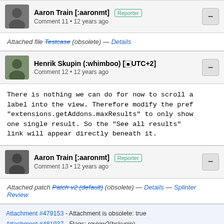Aaron Train [:aaronmt] Reporter
Comment 11 • 12 years ago
Attached file Testcase (obsolete) — Details
Henrik Skupin (:whimboo) [UTC+2]
Comment 12 • 12 years ago
There is nothing we can do for now to scroll a label into the view. Therefore modify the pref "extensions.getAddons.maxResults" to only show one single result. So the "See all results" link will appear directly beneath it.
Aaron Train [:aaronmt] Reporter
Comment 13 • 12 years ago
Attached patch Patch v2 (default) (obsolete) — Details — Splinter Review
Attachment #479153 - Attachment is obsolete: true
Attachment #481937 - Flags: review?(hskupin)